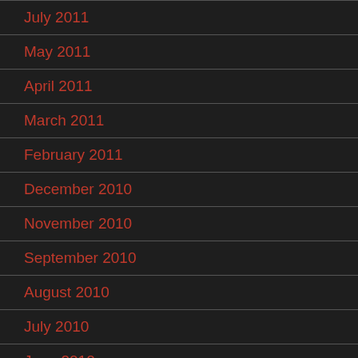July 2011
May 2011
April 2011
March 2011
February 2011
December 2010
November 2010
September 2010
August 2010
July 2010
June 2010